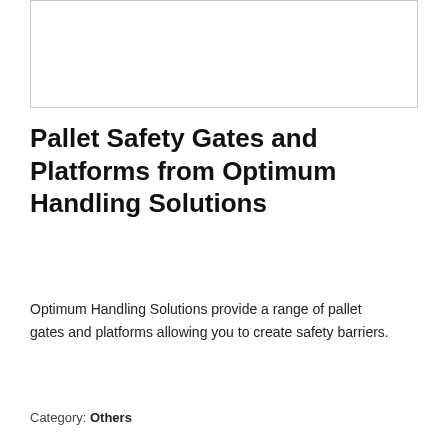[Figure (other): Empty white image placeholder with light gray border]
Pallet Safety Gates and Platforms from Optimum Handling Solutions
Optimum Handling Solutions provide a range of pallet gates and platforms allowing you to create safety barriers.
Category: Others